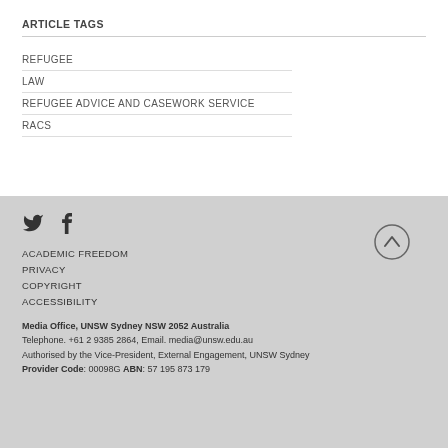ARTICLE TAGS
REFUGEE
LAW
REFUGEE ADVICE AND CASEWORK SERVICE
RACS
[Figure (illustration): Twitter bird icon and Facebook 'f' icon side by side]
ACADEMIC FREEDOM
PRIVACY
COPYRIGHT
ACCESSIBILITY
Media Office, UNSW Sydney NSW 2052 Australia
Telephone. +61 2 9385 2864, Email. media@unsw.edu.au
Authorised by the Vice-President, External Engagement, UNSW Sydney
Provider Code: 00098G ABN: 57 195 873 179